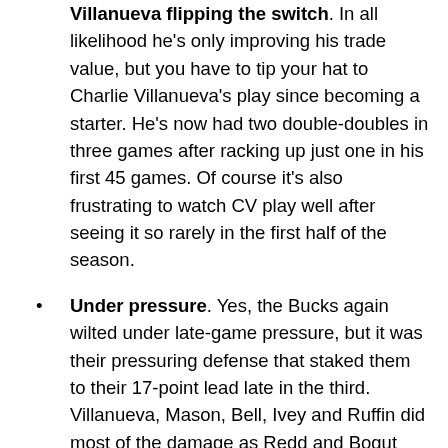Villanueva flipping the switch. In all likelihood he's only improving his trade value, but you have to tip your hat to Charlie Villanueva's play since becoming a starter. He's now had two double-doubles in three games after racking up just one in his first 45 games. Of course it's also frustrating to watch CV play well after seeing it so rarely in the first half of the season.
Under pressure. Yes, the Bucks again wilted under late-game pressure, but it was their pressuring defense that staked them to their 17-point lead late in the third. Villanueva, Mason, Bell, Ivey and Ruffin did most of the damage as Redd and Bogut watched from the bench. The Bucks' halfcourt style simply didn't work in the first half of the season, so expect the Bucks to use more gimmicks from here on out--playing lots of zone,